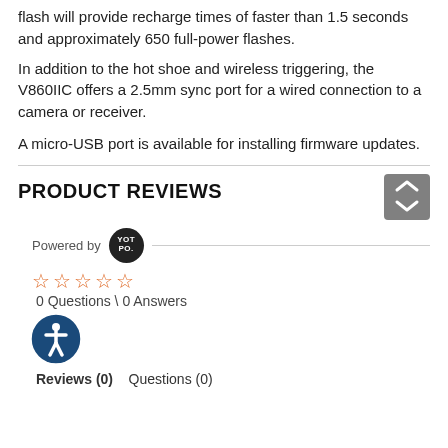flash will provide recharge times of faster than 1.5 seconds and approximately 650 full-power flashes.
In addition to the hot shoe and wireless triggering, the V860IIC offers a 2.5mm sync port for a wired connection to a camera or receiver.
A micro-USB port is available for installing firmware updates.
PRODUCT REVIEWS
Powered by YOT PO.
☆☆☆☆☆
0 Questions \ 0 Answers
[Figure (illustration): Accessibility icon — circular blue button with a white person figure (accessibility symbol)]
Reviews (0)   Questions (0)